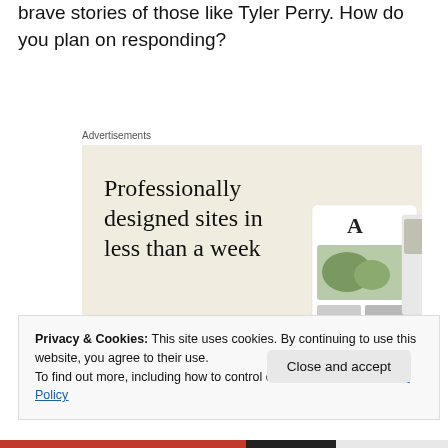brave stories of those like Tyler Perry.  How do you plan on responding?
Advertisements
[Figure (illustration): Web design advertisement with headline 'Professionally designed sites in less than a week', a green 'Explore options' button, and mockup screenshots of web pages]
Privacy & Cookies: This site uses cookies. By continuing to use this website, you agree to their use.
To find out more, including how to control cookies, see here: Cookie Policy
Close and accept